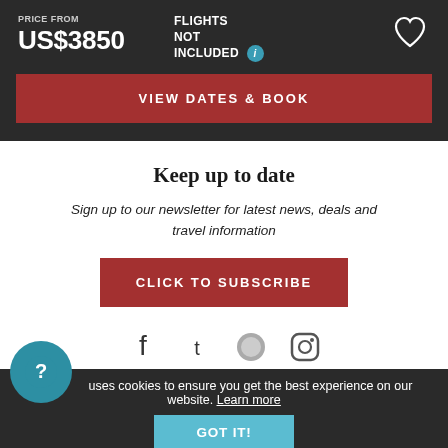PRICE FROM
US$3850
FLIGHTS NOT INCLUDED
VIEW DATES & BOOK
Keep up to date
Sign up to our newsletter for latest news, deals and travel information
CLICK TO SUBSCRIBE
This site uses cookies to ensure you get the best experience on our website. Learn more
GOT IT!